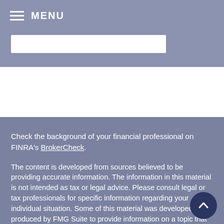MENU
Check the background of your financial professional on FINRA's BrokerCheck.
The content is developed from sources believed to be providing accurate information. The information in this material is not intended as tax or legal advice. Please consult legal or tax professionals for specific information regarding your individual situation. Some of this material was developed and produced by FMG Suite to provide information on a topic that may be of interest. FMG Suite is not affiliated with the named representative, broker - dealer, state - or SEC - registered investment advisory firm. The opinions expressed and material provided are for general